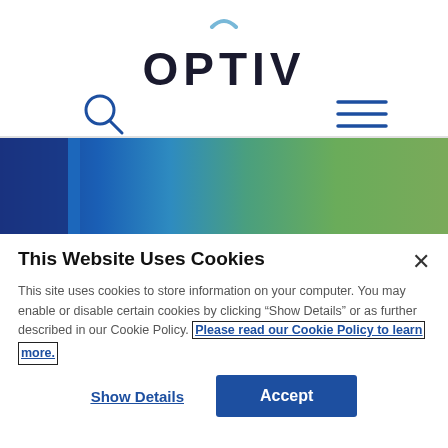[Figure (logo): Optiv company logo with arcs above and below the text OPTIV]
[Figure (screenshot): Navigation bar with search icon (magnifying glass) on the left and hamburger menu icon on the right]
[Figure (photo): Colorful banner image strip with blue, teal and green gradient colors]
This Website Uses Cookies
This site uses cookies to store information on your computer. You may enable or disable certain cookies by clicking “Show Details” or as further described in our Cookie Policy. Please read our Cookie Policy to learn more.
Show Details
Accept